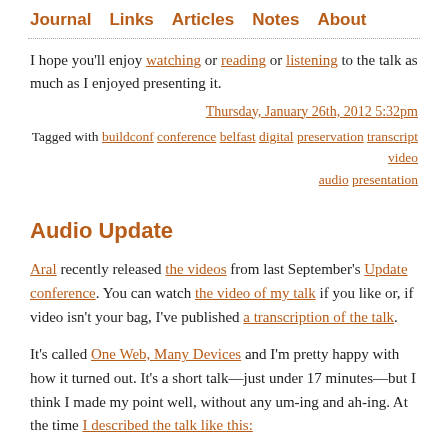Journal  Links  Articles  Notes  About
I hope you'll enjoy watching or reading or listening to the talk as much as I enjoyed presenting it.
Thursday, January 26th, 2012 5:32pm
Tagged with buildconf conference belfast digital preservation transcript video audio presentation
Audio Update
Aral recently released the videos from last September's Update conference. You can watch the video of my talk if you like or, if video isn't your bag, I've published a transcription of the talk.
It's called One Web, Many Devices and I'm pretty happy with how it turned out. It's a short talk—just under 17 minutes—but I think I made my point well, without any um-ing and ah-ing. At the time I described the talk like this: